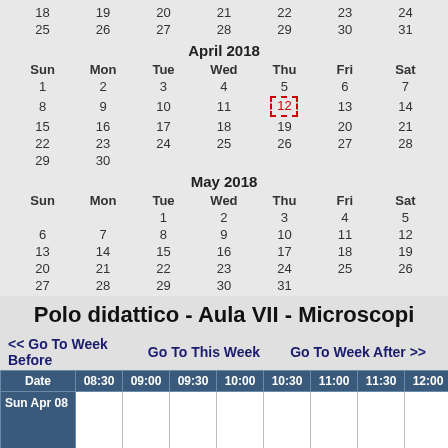| Sun | Mon | Tue | Wed | Thu | Fri | Sat |
| --- | --- | --- | --- | --- | --- | --- |
| 18 | 19 | 20 | 21 | 22 | 23 | 24 |
| 25 | 26 | 27 | 28 | 29 | 30 | 31 |
April 2018
| Sun | Mon | Tue | Wed | Thu | Fri | Sat |
| --- | --- | --- | --- | --- | --- | --- |
| 1 | 2 | 3 | 4 | 5 | 6 | 7 |
| 8 | 9 | 10 | 11 | 12 | 13 | 14 |
| 15 | 16 | 17 | 18 | 19 | 20 | 21 |
| 22 | 23 | 24 | 25 | 26 | 27 | 28 |
| 29 | 30 |  |  |  |  |  |
May 2018
| Sun | Mon | Tue | Wed | Thu | Fri | Sat |
| --- | --- | --- | --- | --- | --- | --- |
|  |  | 1 | 2 | 3 | 4 | 5 |
| 6 | 7 | 8 | 9 | 10 | 11 | 12 |
| 13 | 14 | 15 | 16 | 17 | 18 | 19 |
| 20 | 21 | 22 | 23 | 24 | 25 | 26 |
| 27 | 28 | 29 | 30 | 31 |  |  |
Polo didattico - Aula VII - Microscopi
<< Go To Week Before   Go To This Week   Go To Week After >>
| Date | 08:30 | 09:00 | 09:30 | 10:00 | 10:30 | 11:00 | 11:30 | 12:00 | 12:30 | 13 |
| --- | --- | --- | --- | --- | --- | --- | --- | --- | --- | --- |
| Sun Apr 08 |  |  |  |  |  |  |  |  |  |  |
| Mon Apr 09 |  |  |  |  |  |  |  |  |  |  |